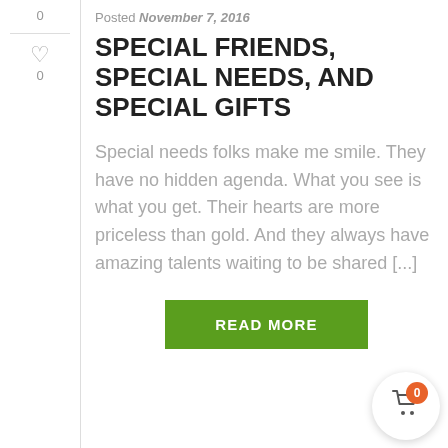0
0
Posted November 7, 2016
SPECIAL FRIENDS, SPECIAL NEEDS, AND SPECIAL GIFTS
Special needs folks make me smile. They have no hidden agenda. What you see is what you get. Their hearts are more priceless than gold. And they always have amazing talents waiting to be shared [...]
READ MORE